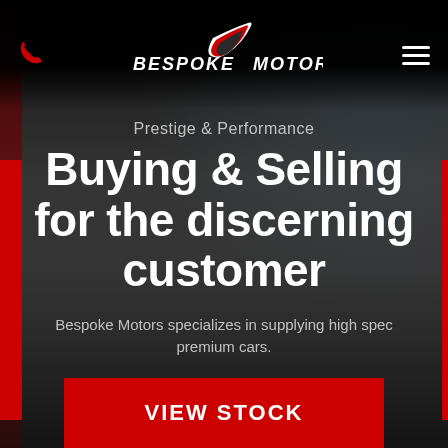[Figure (photo): Dark background photo of Bespoke Motors car dealership building facade with large glass windows, red accents, and signage reading Bespoke Motors]
Bespoke Motors — navigation header with phone icon, logo, and hamburger menu
Prestige & Performance
Buying & Selling for the discerning customer
Bespoke Motors specializes in supplying high spec premium cars.
VIEW STOCK